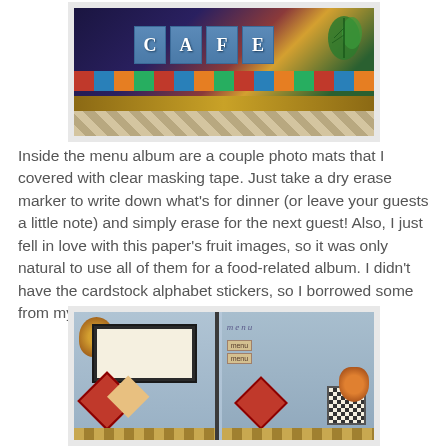[Figure (photo): Close-up photo of a scrapbook menu album cover with blue letter tiles spelling CAFE on a dark navy background with colorful stripe patterns and tile decorations]
Inside the menu album are a couple photo mats that I covered with clear masking tape. Just take a dry erase marker to write down what's for dinner (or leave your guests a little note) and simply erase for the next guest! Also, I just fell in love with this paper's fruit images, so it was only natural to use all of them for a food-related album. I didn't have the cardstock alphabet stickers, so I borrowed some from my Olde Curiosity Shoppe stash.
[Figure (photo): Photo of the inside spread of a decorative menu scrapbook album showing two pages with photo mats, fruit decorations, red diamond badges, a menu tag, and checkered badge elements on a blue patterned background]